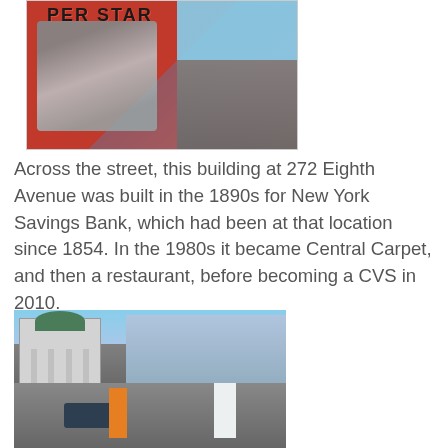[Figure (photo): Blurry close-up photo of a baseball card showing a player in a Yankees-style uniform with sunglasses, against a red background with 'SUPER STAR' text at top. Street scene visible on the right side.]
Across the street, this building at 272 Eighth Avenue was built in the 1890s for New York Savings Bank, which had been at that location since 1854. In the 1980s it became Central Carpet, and then a restaurant, before becoming a CVS in 2010.
[Figure (photo): Street-level photo of 272 Eighth Avenue showing a neoclassical bank building with a green dome and columns, people walking in crosswalk including a woman in an orange dress and a man in a white shirt, cars and city street visible.]